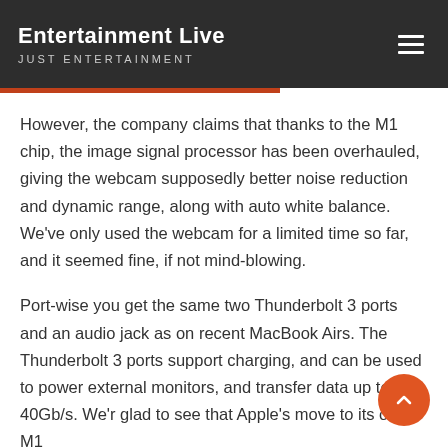Entertainment Live
JUST ENTERTAINMENT
However, the company claims that thanks to the M1 chip, the image signal processor has been overhauled, giving the webcam supposedly better noise reduction and dynamic range, along with auto white balance. We've only used the webcam for a limited time so far, and it seemed fine, if not mind-blowing.
Port-wise you get the same two Thunderbolt 3 ports and an audio jack as on recent MacBook Airs. The Thunderbolt 3 ports support charging, and can be used to power external monitors, and transfer data up to 40Gb/s. We're glad to see that Apple's move to its own M1